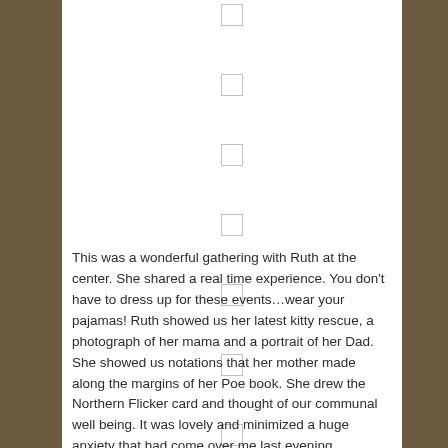[Figure (other): Seven empty checkboxes arranged vertically in the upper portion of the page]
This was a wonderful gathering with Ruth at the center.  She shared a real time experience.  You don't have to dress up for these events…wear your pajamas!  Ruth showed us her latest kitty rescue, a photograph of her mama and a portrait of her Dad.  She showed us notations that her mother made along the margins of her Poe book.  She drew the Northern Flicker card and thought of our communal well being.  It was lovely and minimized a huge anxiety that had come over me last evening.